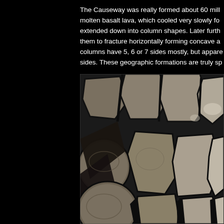The Causeway was really formed about 60 mill molten basalt lava, which cooled very slowly fo extended down into column shapes. Later furth them to fracture horizontally forming concave a columns have 5, 6 or 7 sides mostly, but appare sides. These geographic formations are truly sp
[Figure (photo): Close-up photograph of the Giant's Causeway showing hexagonal basalt columns viewed from above, with dark gaps between the polygonal stone tops.]